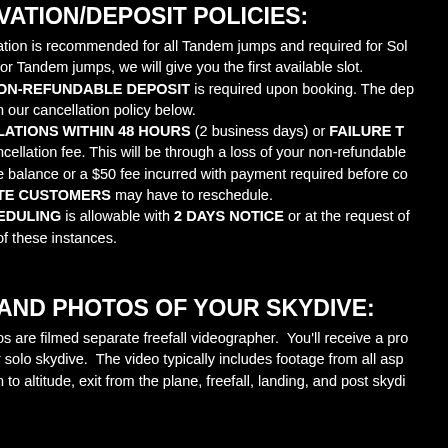VATION/DEPOSIT POLICIES:
ation is recommended for all Tandem jumps and required for Sol for Tandem jumps, we will give you the first available slot. ON-REFUNDABLE DEPOSIT is required upon booking. The dep n our cancellation policy below. LATIONS WITHIN 48 HOURS (2 business days) or FAILURE T ncellation fee. This will be through a loss of your non-refundable e balance or a $50 fee incurred with payment required before co TE CUSTOMERS may have to reschedule. EDULING is allowable with 2 DAYS NOTICE or at the request of of these instances.
AND PHOTOS OF YOUR SKYDIVE:
os are filmed separate freefall videographer. You'll receive a pro r solo skydive. The video typically includes footage from all asp n to altitude, exit from the plane, freefall, landing, and post skydi